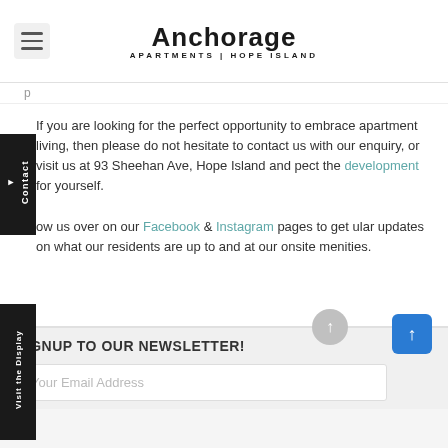[Figure (logo): Anchorage Apartments | Hope Island logo with hamburger menu icon]
If you are looking for the perfect opportunity to embrace apartment living, then please do not hesitate to contact us with your enquiry, or visit us at 93 Sheehan Ave, Hope Island and inspect the development for yourself. Follow us over on our Facebook & Instagram pages to get regular updates on what our residents are up to and at our onsite amenities.
SIGNUP TO OUR NEWSLETTER!
Your Email Address